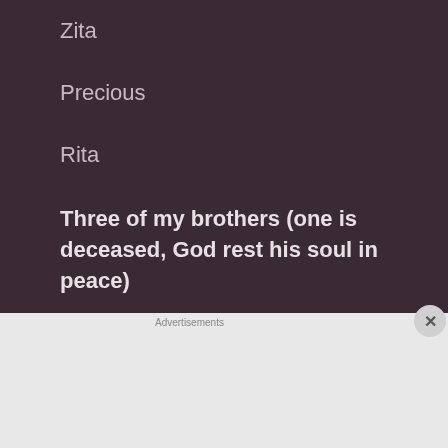Zita
Precious
Rita
Three of my brothers (one is deceased, God rest his soul in peace)
Nicodemus
[Figure (infographic): DuckDuckGo advertisement banner: orange background with text 'Search, browse, and email with more privacy. All in One Free App' and phone mockup showing DuckDuckGo logo]